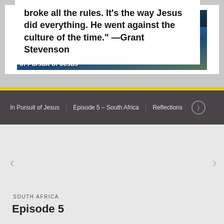broke all the rules. It's the way Jesus did everything. He went against the culture of the time." —Grant Stevenson
In Pursuit of Jesus  Episode 5 – South Africa  Reflections
[Figure (screenshot): YouTube video thumbnail showing aerial view of South African coastline with 'In Pursuit of Jesus' text overlay. Channel icon (orange circle with plant/wheat logo), video title 'Facing Cultural Challe...' and play button visible.]
SOUTH AFRICA
Episode 5